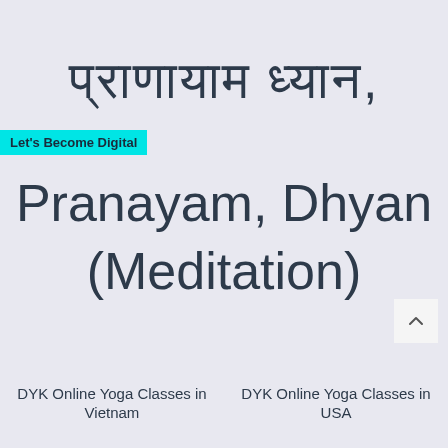प्राणायाम ध्यान, Pranayam, Dhyan (Meditation)
Let's Become Digital
DYK Online Yoga Classes in Vietnam
DYK Online Yoga Classes in USA